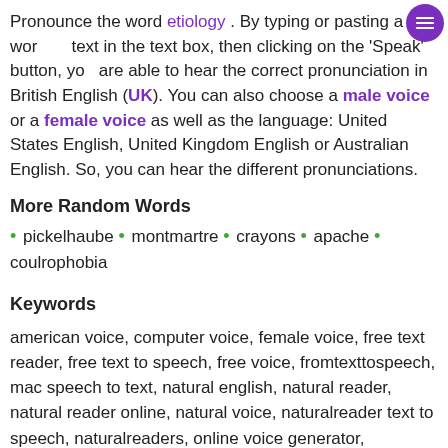Pronounce the word etiology . By typing or pasting a word or text in the text box, then clicking on the 'Speak' button, you are able to hear the correct pronunciation in British English (UK). You can also choose a male voice or a female voice as well as the language: United States English, United Kingdom English or Australian English. So, you can hear the different pronunciations.
More Random Words
pickelhaube • montmartre • crayons • apache • coulrophobia
Keywords
american voice, computer voice, female voice, free text reader, free text to speech, free voice, fromtexttospeech, mac speech to text, natural english, natural reader, natural reader online, natural voice, naturalreader text to speech, naturalreaders, online voice generator, pronunciation online, pronunciation tool, read aloud app, read it, read it online, read